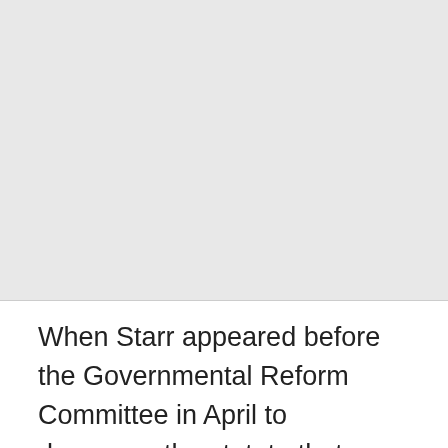[Figure (other): Large gray rectangular block occupying the upper portion of the page, representing an image or blank area.]
When Starr appeared before the Governmental Reform Committee in April to denounce the statute that empowered him, he looked scared. If you caught the performance, then you know what I’m talking about.